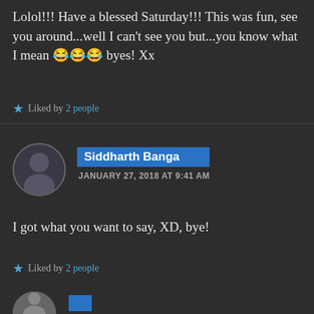Lolol!!! Have a blessed Saturday!!! This was fun, see you around...well I can't see you but...you know what I mean 😂😂😂 byes! Xx
Liked by 2 people
Siddharth Banga
JANUARY 27, 2018 AT 9:41 AM
I got what you want to say, XD, bye!
Liked by 2 people